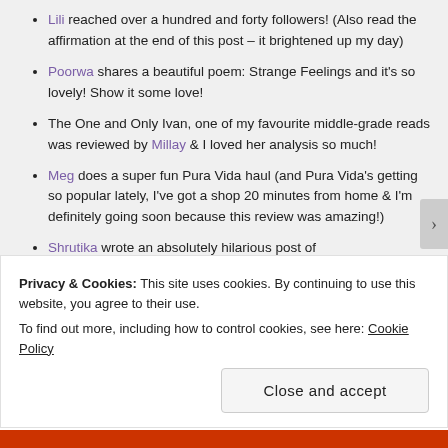Lili reached over a hundred and forty followers! (Also read the affirmation at the end of this post – it brightened up my day)
Poorwa shares a beautiful poem: Strange Feelings and it's so lovely! Show it some love!
The One and Only Ivan, one of my favourite middle-grade reads was reviewed by Millay & I loved her analysis so much!
Meg does a super fun Pura Vida haul (and Pura Vida's getting so popular lately, I've got a shop 20 minutes from home & I'm definitely going soon because this review was amazing!)
Shrutika wrote an absolutely hilarious post of
Privacy & Cookies: This site uses cookies. By continuing to use this website, you agree to their use.
To find out more, including how to control cookies, see here: Cookie Policy
Close and accept